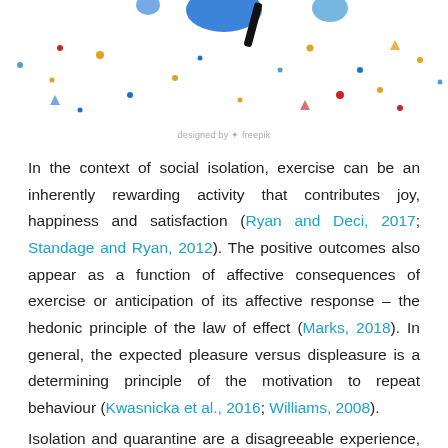[Figure (illustration): Decorative illustration with abstract confetti-like dots and shapes in blue, orange, and red on a white background, partially visible at top of page. Includes 'designed by freepik' caption.]
designed by freepik
In the context of social isolation, exercise can be an inherently rewarding activity that contributes joy, happiness and satisfaction (Ryan and Deci, 2017; Standage and Ryan, 2012). The positive outcomes also appear as a function of affective consequences of exercise or anticipation of its affective response – the hedonic principle of the law of effect (Marks, 2018). In general, the expected pleasure versus displeasure is a determining principle of the motivation to repeat behaviour (Kwasnicka et al., 2016; Williams, 2008). Isolation and quarantine are a disagreeable experience, which may lead to sadness and even impose dramatic mental illness for those who undergo it (Brooks et al., 2020). In this context, a daily exercise routine can be